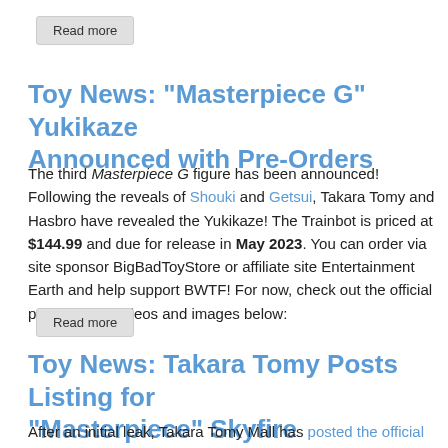Read more
Toy News: "Masterpiece G" Yukikaze Announced with Pre-Orders
The third Masterpiece G figure has been announced! Following the reveals of Shouki and Getsui, Takara Tomy and Hasbro have revealed the Yukikaze! The Trainbot is priced at $144.99 and due for release in May 2023. You can order via site sponsor BigBadToyStore or affiliate site Entertainment Earth and help support BWTF! For now, check out the official product info, videos and images below:
Read more
Toy News: Takara Tomy Posts Listing for "Masterpiece" Skyfire
After an initial leak, Takara Tomy Mall has posted the official listing for Masterpiece Skyfire! This piece is priced at a whopping 35,000 Yen (about $296 USD) and due for release in late January 2023. Check out